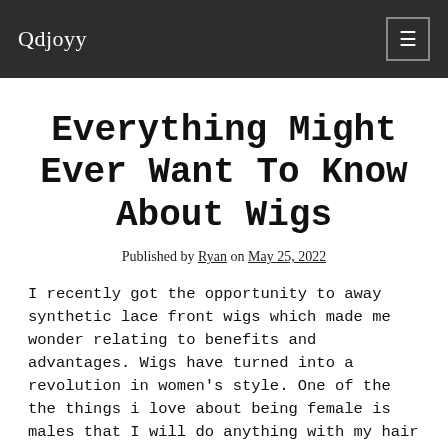Qdjoyy
Everything Might Ever Want To Know About Wigs
Published by Ryan on May 25, 2022
I recently got the opportunity to away synthetic lace front wigs which made me wonder relating to benefits and advantages. Wigs have turned into a revolution in women's style. One of the the things i love about being female is males that I will do anything with my hair phrases of of style and treatments. Thanks to modern technology and the emergence of wigs, opportunities